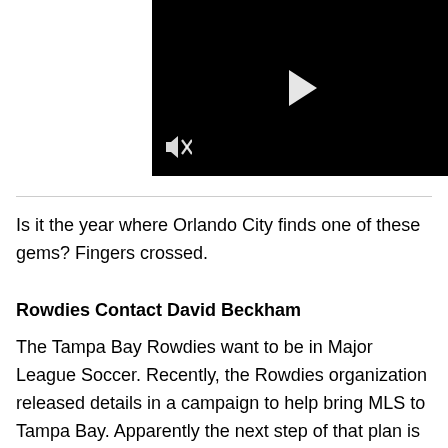[Figure (screenshot): Black video player with a white play button triangle in the center and a muted speaker icon in the bottom left corner]
Is it the year where Orlando City finds one of these gems? Fingers crossed.
Rowdies Contact David Beckham
The Tampa Bay Rowdies want to be in Major League Soccer. Recently, the Rowdies organization released details in a campaign to help bring MLS to Tampa Bay. Apparently the next step of that plan is to capitalize on